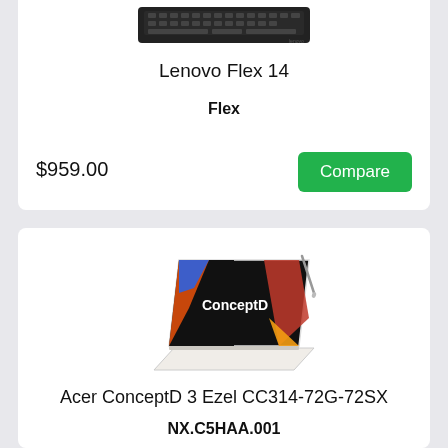[Figure (photo): Lenovo laptop keyboard viewed from above, dark/black color with Lenovo logo]
Lenovo Flex 14
Flex
$959.00
Compare
[Figure (photo): Acer ConceptD 3 Ezel laptop in tent/ezel mode with black screen showing ConceptD logo and colorful design, white body, with stylus]
Acer ConceptD 3 Ezel CC314-72G-72SX
NX.C5HAA.001